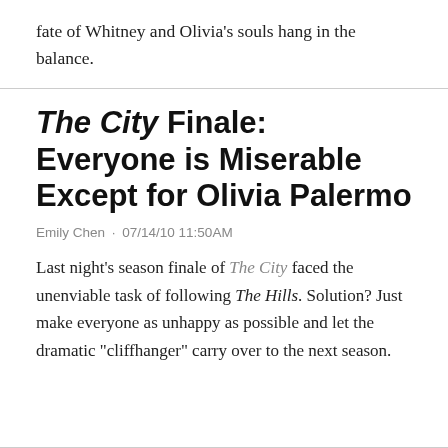fate of Whitney and Olivia's souls hang in the balance.
The City Finale: Everyone is Miserable Except for Olivia Palermo
Emily Chen · 07/14/10 11:50AM
Last night's season finale of The City faced the unenviable task of following The Hills. Solution? Just make everyone as unhappy as possible and let the dramatic "cliffhanger" carry over to the next season.